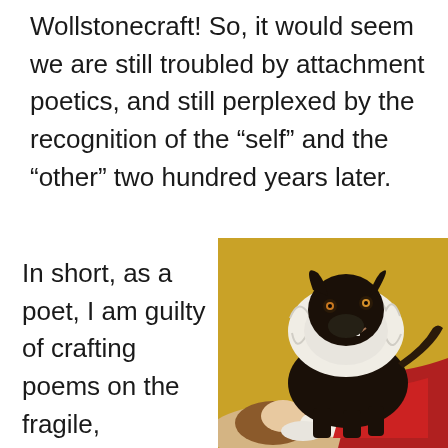Wollstonecraft! So, it would seem we are still troubled by attachment poetics, and still perplexed by the recognition of the “self” and the “other” two hundred years later.
In short, as a poet, I am guilty of crafting poems on the fragile, filamented,
[Figure (illustration): A painting of a black dog wearing a white Elizabethan ruff collar, standing over a reclining figure. The background is golden yellow. The dog appears to be smiling or snarling, with a red draped fabric visible. The reclining figure has white-gloved hands visible.]